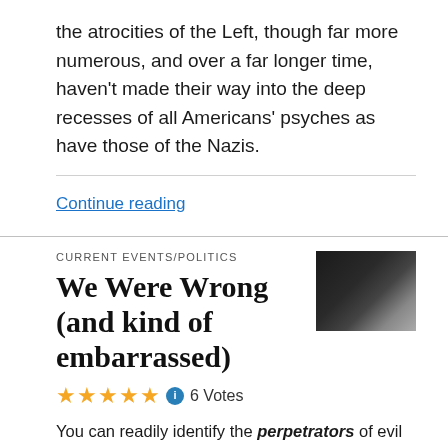the atrocities of the Left, though far more numerous, and over a far longer time, haven't made their way into the deep recesses of all Americans' psyches as have those of the Nazis.
Continue reading
CURRENT EVENTS/POLITICS
We Were Wrong (and kind of embarrassed)
[Figure (photo): Thumbnail photo of a person, mostly dark/silhouetted]
★★★★★ ℹ 6 Votes
You can readily identify the perpetrators of evil by determining who's doing the silencing of other opinions and thinking. Those with good, strong thinking — with notions bolstered by logic, and tested over and over